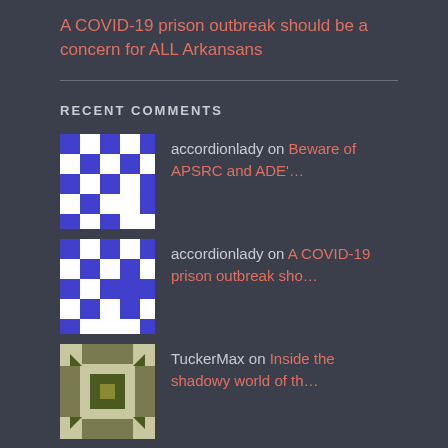A COVID-19 prison outbreak should be a concern for ALL Arkansans
accordionlady on Beware of APSRC and ADE'…
accordionlady on A COVID-19 prison outbreak sho…
TuckerMax on Inside the shadowy world of th…
Inside the shadowy w… on Inside the shadowy world of th…
Boldness Warrants Fr… on Inside the shadowy world of th…
RECENT COMMENTS